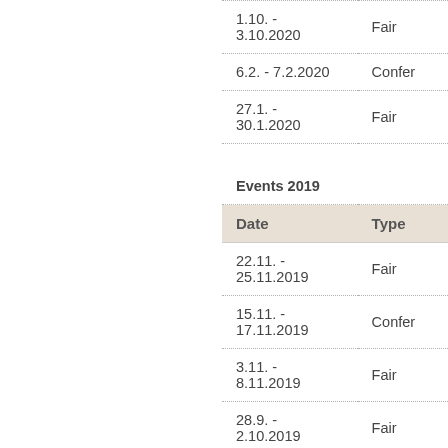| Date | Type |
| --- | --- |
| 1.10. - 3.10.2020 | Fair |
| 6.2. - 7.2.2020 | Confer... |
| 27.1. - 30.1.2020 | Fair |
| Events 2019 |  |
| --- | --- |
| Date | Type |
| 22.11. - 25.11.2019 | Fair |
| 15.11. - 17.11.2019 | Confer... |
| 3.11. - 8.11.2019 | Fair |
| 28.9. - 2.10.2019 | Fair |
| 20.9. - 23.9.2019 | Fair |
| 17.9. - 21.9.2019 | Fair |
| 31.8. - 4.9.2019 | Confer... |
| 29.8. - 31.8.2019 | Confer... |